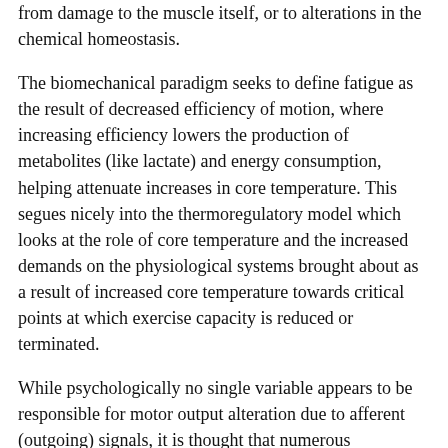from damage to the muscle itself, or to alterations in the chemical homeostasis.
The biomechanical paradigm seeks to define fatigue as the result of decreased efficiency of motion, where increasing efficiency lowers the production of metabolites (like lactate) and energy consumption, helping attenuate increases in core temperature. This segues nicely into the thermoregulatory model which looks at the role of core temperature and the increased demands on the physiological systems brought about as a result of increased core temperature towards critical points at which exercise capacity is reduced or terminated.
While psychologically no single variable appears to be responsible for motor output alteration due to afferent (outgoing) signals, it is thought that numerous mechanisms are responsible for the subconscious perception of fatigue and alterations in central activation and perceived exertion.